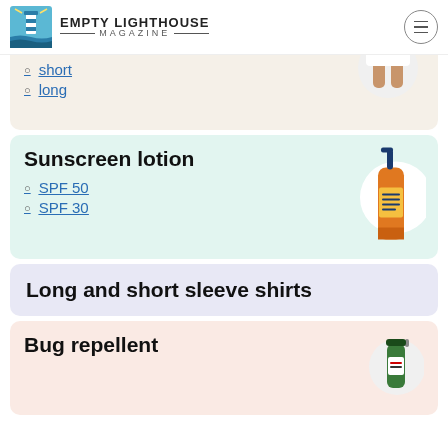Empty Lighthouse Magazine
short
long
Sunscreen lotion
SPF 50
SPF 30
[Figure (photo): Orange sunscreen lotion bottle with pump]
Long and short sleeve shirts
Bug repellent
[Figure (photo): Green bug repellent spray bottle]